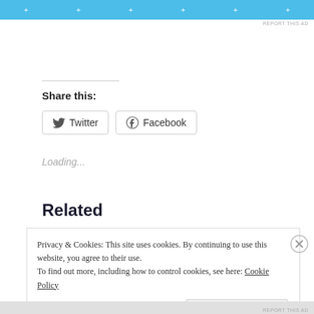[Figure (other): Blue ad banner with plus symbols]
REPORT THIS AD
Share this:
Twitter
Facebook
Loading...
Related
Privacy & Cookies: This site uses cookies. By continuing to use this website, you agree to their use.
To find out more, including how to control cookies, see here: Cookie Policy
Close and accept
REPORT THIS AD